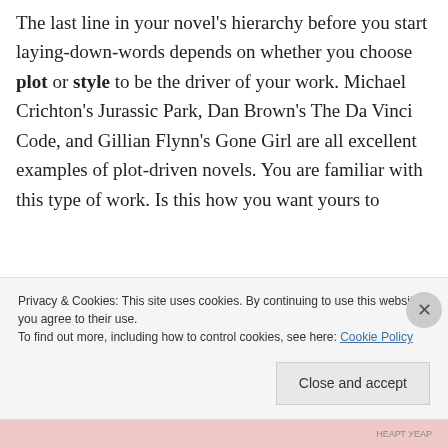The last line in your novel's hierarchy before you start laying-down-words depends on whether you choose plot or style to be the driver of your work. Michael Crichton's Jurassic Park, Dan Brown's The Da Vinci Code, and Gillian Flynn's Gone Girl are all excellent examples of plot-driven novels. You are familiar with this type of work. Is this how you want yours to
Privacy & Cookies: This site uses cookies. By continuing to use this website, you agree to their use.
To find out more, including how to control cookies, see here: Cookie Policy
Close and accept